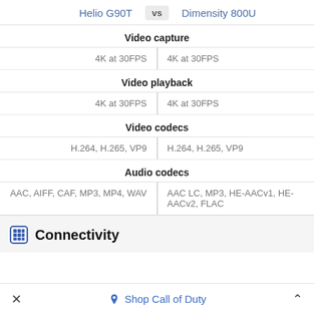Helio G90T vs Dimensity 800U
Video capture
| Helio G90T | Dimensity 800U |
| --- | --- |
| 4K at 30FPS | 4K at 30FPS |
Video playback
| Helio G90T | Dimensity 800U |
| --- | --- |
| 4K at 30FPS | 4K at 30FPS |
Video codecs
| Helio G90T | Dimensity 800U |
| --- | --- |
| H.264, H.265, VP9 | H.264, H.265, VP9 |
Audio codecs
| Helio G90T | Dimensity 800U |
| --- | --- |
| AAC, AIFF, CAF, MP3, MP4, WAV | AAC LC, MP3, HE-AACv1, HE-AACv2, FLAC |
Connectivity
Shop Call of Duty